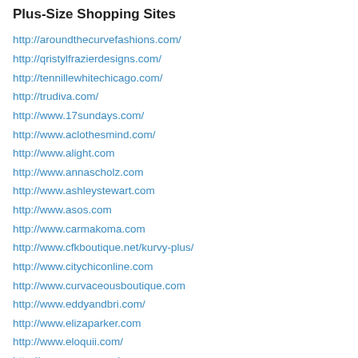Plus-Size Shopping Sites
http://aroundthecurvefashions.com/
http://qristylfrazierdesigns.com/
http://tennillewhitechicago.com/
http://trudiva.com/
http://www.17sundays.com/
http://www.aclothesmind.com/
http://www.alight.com
http://www.annascholz.com
http://www.ashleystewart.com
http://www.asos.com
http://www.carmakoma.com
http://www.cfkboutique.net/kurvy-plus/
http://www.citychiconline.com
http://www.curvaceousboutique.com
http://www.eddyandbri.com/
http://www.elizaparker.com
http://www.eloquii.com/
http://www.evans.co.uk
http://www.evansusa.com